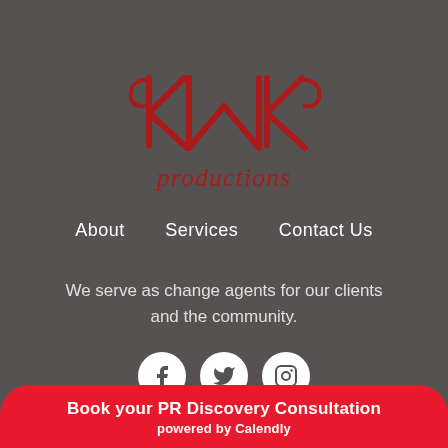[Figure (logo): KMK Productions logo — stylized red letter monogram with 'productions' text in red script]
About   Services   Contact Us
We serve as change agents for our clients and the community.
[Figure (infographic): Three white circular social media icons: Facebook, Twitter, Instagram]
KMK Productions 2020
Book your PR Discovery Consultation
powered by Calendly